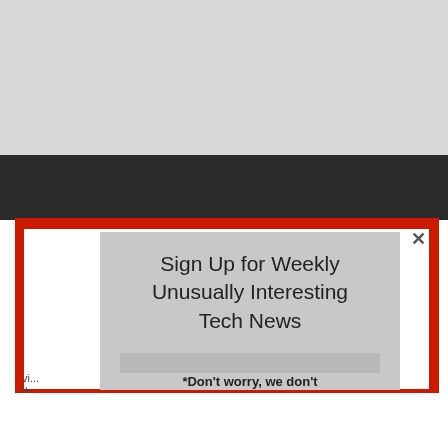[Figure (screenshot): Screenshot of a webpage with a modal popup. The top portion is light gray background. Below that is a dark/black navigation bar. A modal dialog with a red border appears over the page content. The modal has a gray background and displays the text 'Sign Up for Weekly Unusually Interesting Tech News' with '*Don't worry, we don't' partially visible at the bottom. A close (×) button appears in the top right of the modal's outer border area.]